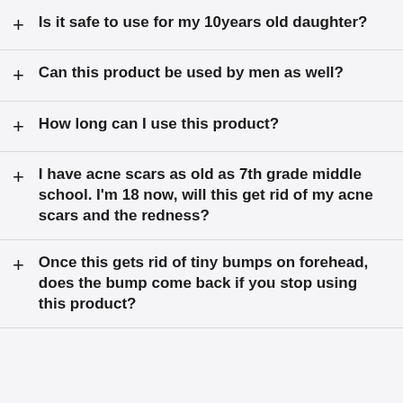Is it safe to use for my 10years old daughter?
Can this product be used by men as well?
How long can I use this product?
I have acne scars as old as 7th grade middle school. I'm 18 now, will this get rid of my acne scars and the redness?
Once this gets rid of tiny bumps on forehead, does the bump come back if you stop using this product?